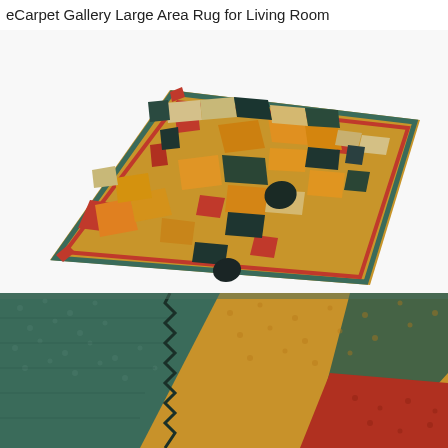eCarpet Gallery Large Area Rug for Living Room
[Figure (photo): A large colorful flat-weave kilim area rug displayed at an angle, showing a geometric abstract pattern in red, orange, yellow, teal/dark green, black, and tan/cream. The rug has a stepped geometric design with a red border.]
[Figure (photo): Close-up detail photo of the rug's flat-weave texture showing teal/dark green, golden yellow, and red geometric pattern sections with visible textile weave structure.]